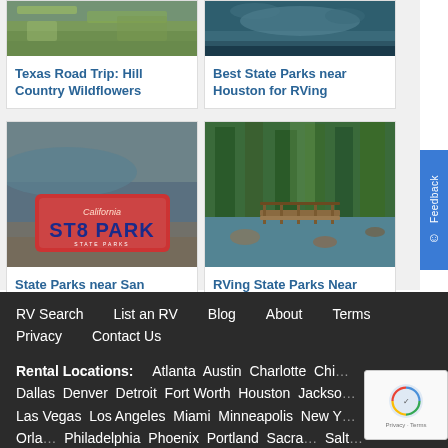[Figure (photo): Texas wildflowers meadow photo (top crop visible)]
Texas Road Trip: Hill Country Wildflowers
[Figure (photo): State park near Houston water/nature photo (top crop visible)]
Best State Parks near Houston for RVing
[Figure (photo): California ST8 PARK license plate with coastal background]
State Parks near San Francisco
[Figure (photo): Forest stream with wooden bridge, green trees]
RVing State Parks Near Atlanta
RV Search   List an RV   Blog   About   Terms   Privacy   Contact Us   Rental Locations: Atlanta Austin Charlotte Chi... Dallas Denver Detroit Fort Worth Houston Jackso... Las Vegas Los Angeles Miami Minneapolis New Y... Orla... Philadelphia Phoenix Portland Sacra... Salt...